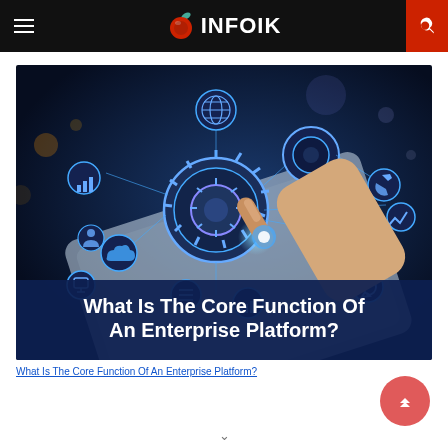INFOIK
[Figure (photo): Dark blue technology background with glowing network nodes and icons (cloud, gears, analytics, people, settings, charts) connected by lines, with a hand touching a tablet. Text overlay reads: What Is The Core Function Of An Enterprise Platform?]
What Is The Core Function Of An Enterprise Platform?